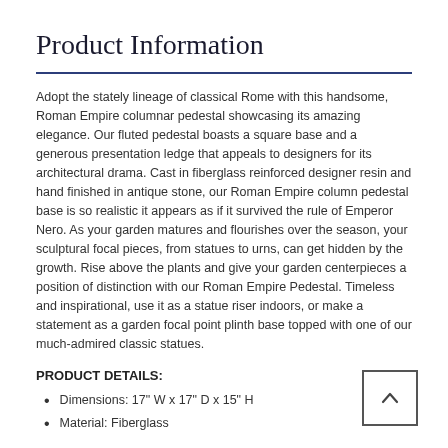Product Information
Adopt the stately lineage of classical Rome with this handsome, Roman Empire columnar pedestal showcasing its amazing elegance. Our fluted pedestal boasts a square base and a generous presentation ledge that appeals to designers for its architectural drama. Cast in fiberglass reinforced designer resin and hand finished in antique stone, our Roman Empire column pedestal base is so realistic it appears as if it survived the rule of Emperor Nero. As your garden matures and flourishes over the season, your sculptural focal pieces, from statues to urns, can get hidden by the growth. Rise above the plants and give your garden centerpieces a position of distinction with our Roman Empire Pedestal. Timeless and inspirational, use it as a statue riser indoors, or make a statement as a garden focal point plinth base topped with one of our much-admired classic statues.
PRODUCT DETAILS:
Dimensions: 17" W x 17" D x 15" H
Material: Fiberglass